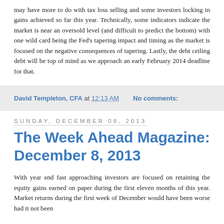may have more to do with tax loss selling and some investors locking in gains achieved so far this year. Technically, some indicators indicate the market is near an oversold level (and difficult to predict the bottom) with one wild card being the Fed's tapering impact and timing as the market is focused on the negative consequences of tapering. Lastly, the debt ceiling debt will be top of mind as we approach an early February 2014 deadline for that.
David Templeton, CFA at 12:13 AM    No comments:
Sunday, December 08, 2013
The Week Ahead Magazine: December 8, 2013
With year end fast approaching investors are focused on retaining the equity gains earned on paper during the first eleven months of this year. Market returns during the first week of December would have been worse had it not been